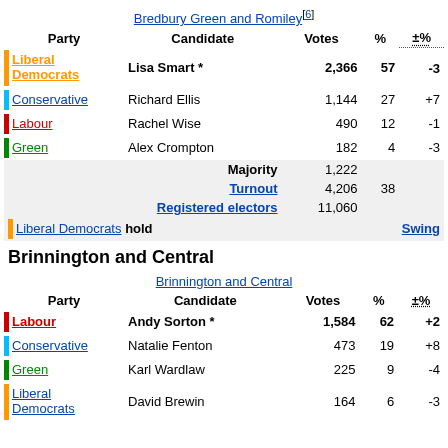| Party | Candidate | Votes | % | ±% |
| --- | --- | --- | --- | --- |
| Liberal Democrats | Lisa Smart * | 2,366 | 57 | -3 |
| Conservative | Richard Ellis | 1,144 | 27 | +7 |
| Labour | Rachel Wise | 490 | 12 | -1 |
| Green | Alex Crompton | 182 | 4 | -3 |
|  | Majority | 1,222 |  |  |
|  | Turnout | 4,206 | 38 |  |
|  | Registered electors | 11,060 |  |  |
| Liberal Democrats hold |  | Swing |  |  |
Brinnington and Central
| Party | Candidate | Votes | % | ±% |
| --- | --- | --- | --- | --- |
| Labour | Andy Sorton * | 1,584 | 62 | +2 |
| Conservative | Natalie Fenton | 473 | 19 | +8 |
| Green | Karl Wardlaw | 225 | 9 | -4 |
| Liberal Democrats | David Brewin | 164 | 6 | -3 |